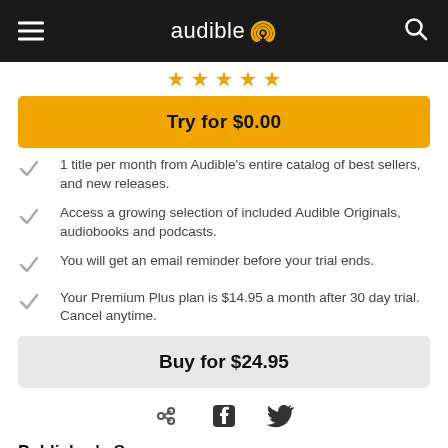audible
[Figure (illustration): Five orange bookmark/ribbon star icons in a row]
Try for $0.00
1 title per month from Audible's entire catalog of best sellers, and new releases.
Access a growing selection of included Audible Originals, audiobooks and podcasts.
You will get an email reminder before your trial ends.
Your Premium Plus plan is $14.95 a month after 30 day trial. Cancel anytime.
Buy for $24.95
[Figure (illustration): Share icons: link, Facebook, Twitter]
Publisher's Summary
Book #1 in the exciting mystery-thriller series from best-selling author big relai